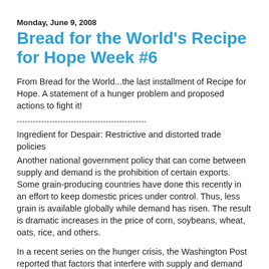Monday, June 9, 2008
Bread for the World's Recipe for Hope Week #6
From Bread for the World...the last installment of Recipe for Hope. A statement of a hunger problem and proposed actions to fight it!
------------------------------------------------
Ingredient for Despair: Restrictive and distorted trade policies
Another national government policy that can come between supply and demand is the prohibition of certain exports. Some grain-producing countries have done this recently in an effort to keep domestic prices under control. Thus, less grain is available globally while demand has risen. The result is dramatic increases in the price of corn, soybeans, wheat, oats, rice, and others.
In a recent series on the hunger crisis, the Washington Post reported that factors that interfere with supply and demand and indirectly related food trade also are the kind of...